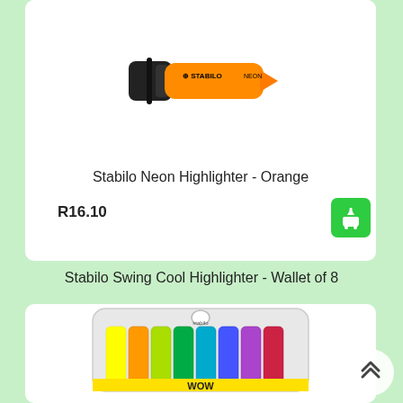[Figure (photo): Stabilo Neon Highlighter in orange color, showing the marker with black cap and orange body with STABILO NEON branding]
Stabilo Neon Highlighter - Orange
R16.10
[Figure (illustration): Green shopping cart with download arrow icon button]
Stabilo Swing Cool Highlighter - Wallet of 8
[Figure (photo): Stabilo Swing Cool Highlighter Wallet of 8 pack, showing multiple colored highlighters in a plastic blister pack with yellow WOW branding at bottom]